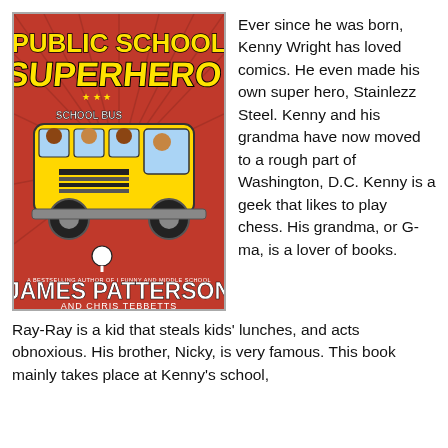[Figure (illustration): Book cover of 'Public School Superhero' by James Patterson and Chris Tebbetts. Red background with yellow school bus and cartoon children. Title text in yellow and white comic-style lettering at top. Author name 'JAMES PATTERSON' in large white bold letters at bottom, 'AND CHRIS TEBBETTS' below that.]
Ever since he was born, Kenny Wright has loved comics. He even made his own super hero, Stainlezz Steel. Kenny and his grandma have now moved to a rough part of Washington, D.C. Kenny is a geek that likes to play chess. His grandma, or G-ma, is a lover of books. Ray-Ray is a kid that steals kids' lunches, and acts obnoxious. His brother, Nicky, is very famous. This book mainly takes place at Kenny's school,